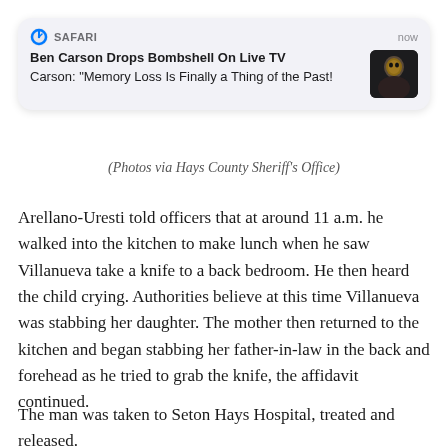[Figure (screenshot): Safari browser push notification on iOS/macOS. App: SAFARI, Time: now. Title: Ben Carson Drops Bombshell On Live TV. Subtitle: Carson: "Memory Loss Is Finally a Thing of the Past!" Thumbnail image of Ben Carson.]
(Photos via Hays County Sheriff's Office)
Arellano-Uresti told officers that at around 11 a.m. he walked into the kitchen to make lunch when he saw Villanueva take a knife to a back bedroom. He then heard the child crying. Authorities believe at this time Villanueva was stabbing her daughter. The mother then returned to the kitchen and began stabbing her father-in-law in the back and forehead as he tried to grab the knife, the affidavit continued.
The man was taken to Seton Hays Hospital, treated and released.